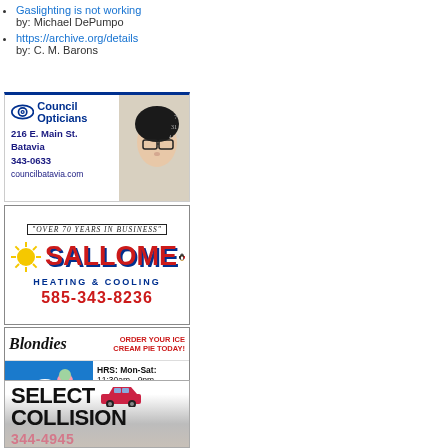Gaslighting is not working by: Michael DePumpo
https://archive.org/details by: C. M. Barons
[Figure (illustration): Council Opticians advertisement. Eye logo, text: 216 E. Main St. Batavia, 343-0633, councilbatavia.com, with photo of woman wearing glasses.]
[Figure (illustration): Sallome Heating & Cooling advertisement. Over 70 years in business. Phone: 585-343-8236. Red and blue logo with penguin mascot.]
[Figure (illustration): Blondies ice cream advertisement. Order your ice cream pie today! HRS: Mon-Sat: 11:30am - 9pm, Sun: 1-9pm. 670 E. Main St., Batavia. 585-487-4636.]
[Figure (illustration): Select Collision advertisement. 344-4945. 5273 Clinton St. Road, Batavia.]